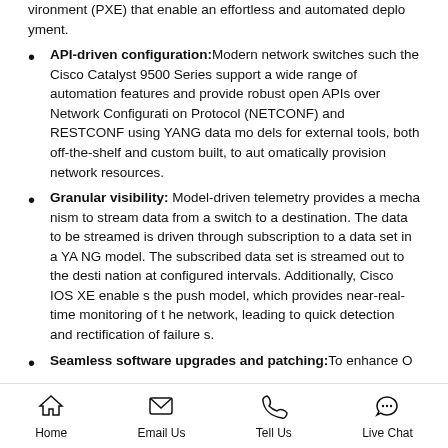vironment (PXE) that enable an effortless and automated deployment.
API-driven configuration: Modern network switches such the Cisco Catalyst 9500 Series support a wide range of automation features and provide robust open APIs over Network Configuration Protocol (NETCONF) and RESTCONF using YANG data models for external tools, both off-the-shelf and custom built, to automatically provision network resources.
Granular visibility: Model-driven telemetry provides a mechanism to stream data from a switch to a destination. The data to be streamed is driven through subscription to a data set in a YANG model. The subscribed data set is streamed out to the destination at configured intervals. Additionally, Cisco IOS XE enables the push model, which provides near-real-time monitoring of the network, leading to quick detection and rectification of failures.
Seamless software upgrades and patching: To enhance O
Home  Email Us  Tell Us  Live Chat